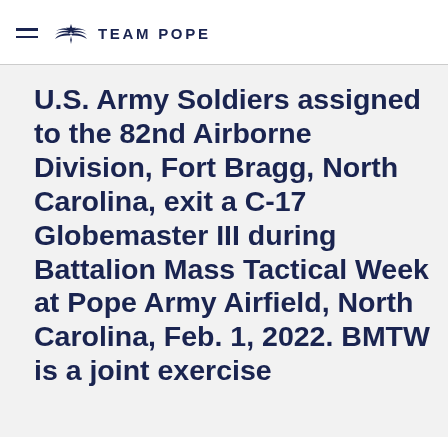TEAM POPE
U.S. Army Soldiers assigned to the 82nd Airborne Division, Fort Bragg, North Carolina, exit a C-17 Globemaster III during Battalion Mass Tactical Week at Pope Army Airfield, North Carolina, Feb. 1, 2022. BMTW is a joint exercise